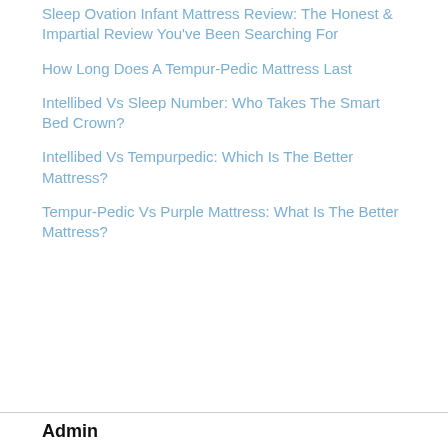Sleep Ovation Infant Mattress Review: The Honest & Impartial Review You've Been Searching For
How Long Does A Tempur-Pedic Mattress Last
Intellibed Vs Sleep Number: Who Takes The Smart Bed Crown?
Intellibed Vs Tempurpedic: Which Is The Better Mattress?
Tempur-Pedic Vs Purple Mattress: What Is The Better Mattress?
Admin